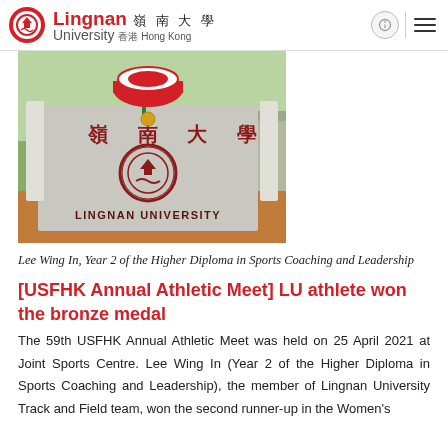Lingnan 嶺南大學 University 香港 Hong Kong
[Figure (photo): A person holding a Lingnan University banner/flag with the university logo and Chinese characters, wearing a medal around their neck. The banner reads 'LINGNAN UNIVERSITY' in bold letters.]
Lee Wing In, Year 2 of the Higher Diploma in Sports Coaching and Leadership
[USFHK Annual Athletic Meet] LU athlete won the bronze medal
The 59th USFHK Annual Athletic Meet was held on 25 April 2021 at Joint Sports Centre. Lee Wing In (Year 2 of the Higher Diploma in Sports Coaching and Leadership), the member of Lingnan University Track and Field team, won the second runner-up in the Women's